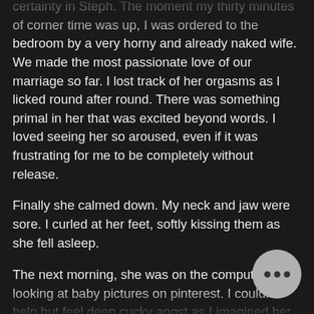certainty in Steph. The moment my thirty minutes of corner time was up, I was ordered to the bedroom by a very horny and already naked wife. We made the most passionate love of our marriage so far. I lost track of her orgasms as I licked round after round. There was something primal in her that was excited beyond words. I loved seeing her so aroused, even if it was frustrating for me to be completely without release.
Finally she calmed down. My neck and jaw were sore. I curled at her feet, softly kissing them as she fell asleep.
The next morning, she was on the computer, looking at baby pictures on pinterest. I couldn't help but feel deep cucky angst as I imagined her holding Don's baby in her arms.
We had a full two months until Don was coming to visit us again. Maybe she would have a change of heart by then.
The two months passed frighteningly quickly though, and got worse instead of better. By the time Don arrived, S… was in a total baby craze. I was surprised though to learn…